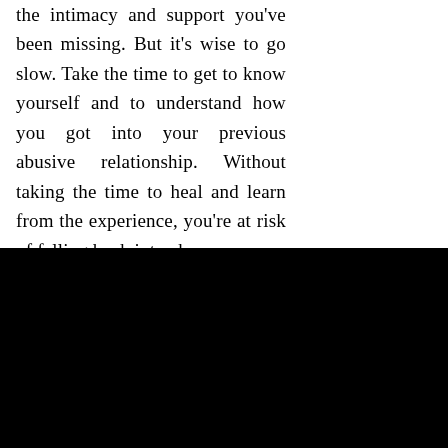the intimacy and support you've been missing. But it's wise to go slow. Take the time to get to know yourself and to understand how you got into your previous abusive relationship. Without taking the time to heal and learn from the experience, you're at risk of falling back into abuse.
[Figure (other): Black rectangular area filling the bottom half of the page]